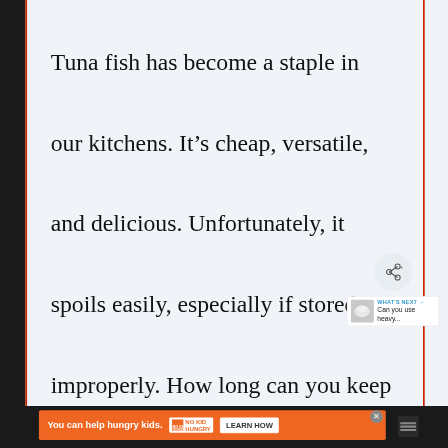Tuna fish has become a staple in our kitchens. It’s cheap, versatile, and delicious. Unfortunately, it spoils easily, especially if stored improperly. How long can you keep
[Figure (screenshot): Share button icon (circular button with share symbol) overlapping the main article text]
[Figure (screenshot): WHAT’S NEXT panel showing a thumbnail image of a bowl with cream and text 'Can you use heavy...']
[Figure (screenshot): Advertisement banner on dark footer: orange background with text 'You can help hungry kids.' and NO KID HUNGRY logo with LEARN HOW button. X close button visible. Dark background with dots/menu icon on right.]